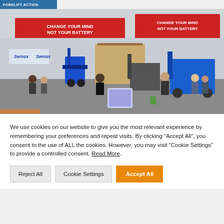FORKLIFT ACTION
[Figure (photo): Indoor exhibition hall showing forklift trucks and industrial equipment on display. Red overhead banners read 'CHANGE YOUR MIND NOT YOUR BATTERY'. Brand signage for 'Semax' visible. Visitors and exhibitors walking around various forklifts including blue electric forklifts.]
We use cookies on our website to give you the most relevant experience by remembering your preferences and repeat visits. By clicking “Accept All”, you consent to the use of ALL the cookies. However, you may visit "Cookie Settings" to provide a controlled consent. Read More.
Reject All
Cookie Settings
Accept All